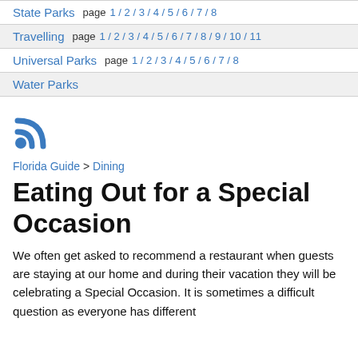State Parks  page 1 / 2 / 3 / 4 / 5 / 6 / 7 / 8
Travelling  page 1 / 2 / 3 / 4 / 5 / 6 / 7 / 8 / 9 / 10 / 11
Universal Parks  page 1 / 2 / 3 / 4 / 5 / 6 / 7 / 8
Water Parks
[Figure (logo): RSS feed icon in blue]
Florida Guide > Dining
Eating Out for a Special Occasion
We often get asked to recommend a restaurant when guests are staying at our home and during their vacation they will be celebrating a Special Occasion. It is sometimes a difficult question as everyone has different